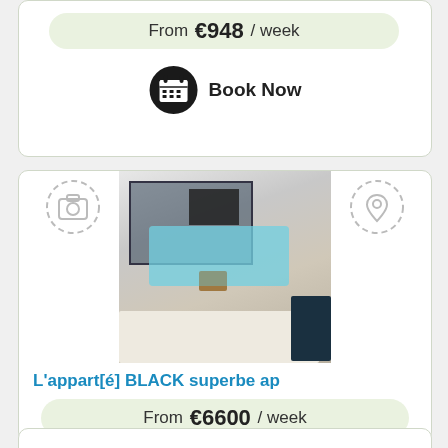From €948 / week
Book Now
[Figure (photo): Interior photo of an apartment with a luxury bathtub/jacuzzi with blue lighting, a wall-mounted dark picture frame, dark-framed window partition, wooden stool, and bed in foreground]
L'appart[é] BLACK superbe ap
From €6600 / week
Book Now